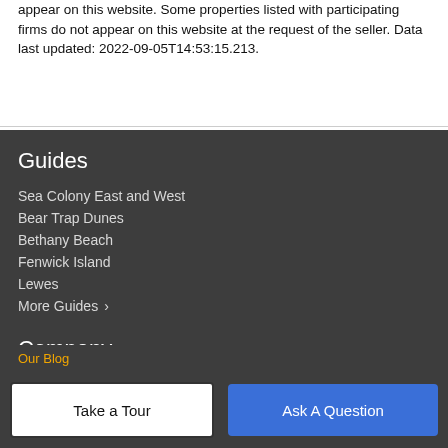appear on this website. Some properties listed with participating firms do not appear on this website at the request of the seller. Data last updated: 2022-09-05T14:53:15.213.
Guides
Sea Colony East and West
Bear Trap Dunes
Bethany Beach
Fenwick Island
Lewes
More Guides ›
Company
Meet The Team
Our Blog
Take a Tour
Ask A Question